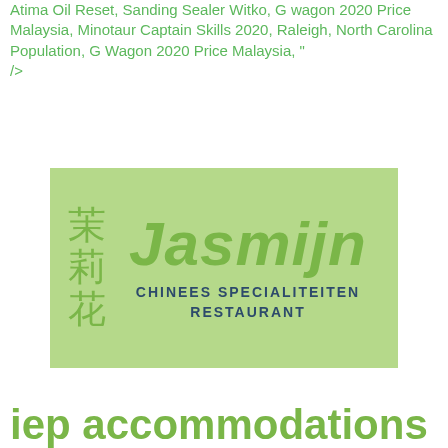Atima Oil Reset, Sanding Sealer Witko, G wagon 2020 Price Malaysia, Minotaur Captain Skills 2020, Raleigh, North Carolina Population, G Wagon 2020 Price Malaysia, " />
[Figure (logo): Jasmijn Chinees Specialiteiten Restaurant logo. Light green rectangular background with Chinese characters on the left and 'Jasmijn' in large italic green font on the right, with 'CHINEES SPECIALITEITEN RESTAURANT' in dark blue bold capitals below.]
iep accommodations